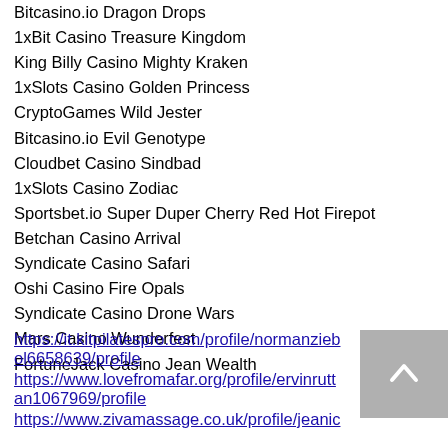Bitcasino.io Dragon Drops
1xBit Casino Treasure Kingdom
King Billy Casino Mighty Kraken
1xSlots Casino Golden Princess
CryptoGames Wild Jester
Bitcasino.io Evil Genotype
Cloudbet Casino Sindbad
1xSlots Casino Zodiac
Sportsbet.io Super Duper Cherry Red Hot Firepot
Betchan Casino Arrival
Syndicate Casino Safari
Oshi Casino Fire Opals
Syndicate Casino Drone Wars
Mars Casino Wunderfest
FortuneJack Casino Jean Wealth
https://it.kitpilatespro.com/profile/normanziebo l6658639/profile
https://www.lovefromafar.org/profile/ervinruttan1067969/profile
https://www.zivamassage.co.uk/profile/jeanic